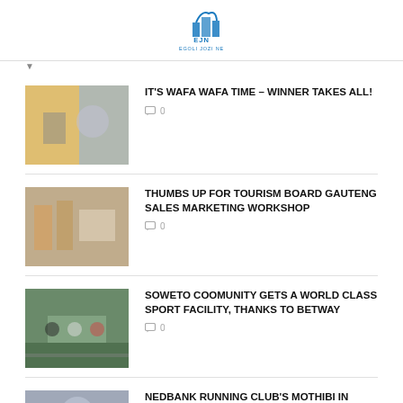EJN EGOLI JOZI NE
IT'S WAFA WAFA TIME – WINNER TAKES ALL!
0
THUMBS UP FOR TOURISM BOARD GAUTENG SALES MARKETING WORKSHOP
0
SOWETO COOMUNITY GETS A WORLD CLASS SPORT FACILITY, THANKS TO BETWAY
0
NEDBANK RUNNING CLUB'S MOTHIBI IN SEARCH OF DOWN RUN TITLE